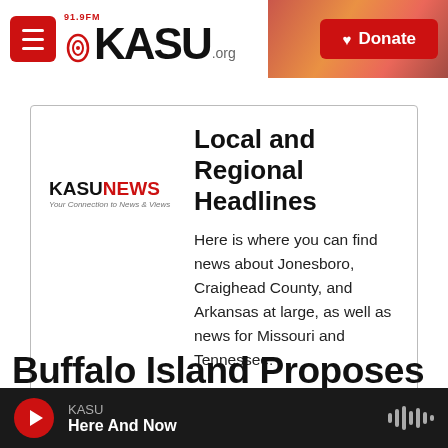91.9FM KASU.org — Donate
[Figure (logo): KASU News logo with tagline 'Your Connection to News & Views']
Local and Regional Headlines
Here is where you can find news about Jonesboro, Craighead County, and Arkansas at large, as well as news for Missouri and Tennessee.
Buffalo Island Proposes Mill...
KASU — Here And Now